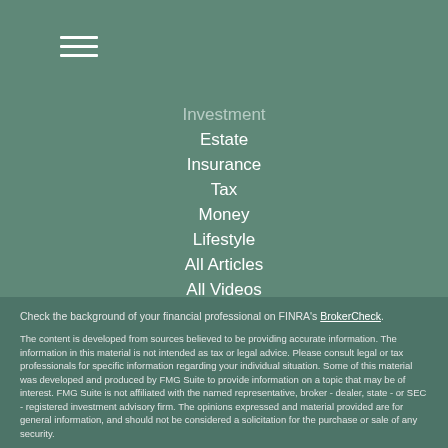[Figure (other): Hamburger menu icon with three horizontal white lines]
Investment
Estate
Insurance
Tax
Money
Lifestyle
All Articles
All Videos
All Calculators
All Presentations
Check the background of your financial professional on FINRA's BrokerCheck.
The content is developed from sources believed to be providing accurate information. The information in this material is not intended as tax or legal advice. Please consult legal or tax professionals for specific information regarding your individual situation. Some of this material was developed and produced by FMG Suite to provide information on a topic that may be of interest. FMG Suite is not affiliated with the named representative, broker - dealer, state - or SEC - registered investment advisory firm. The opinions expressed and material provided are for general information, and should not be considered a solicitation for the purchase or sale of any security.